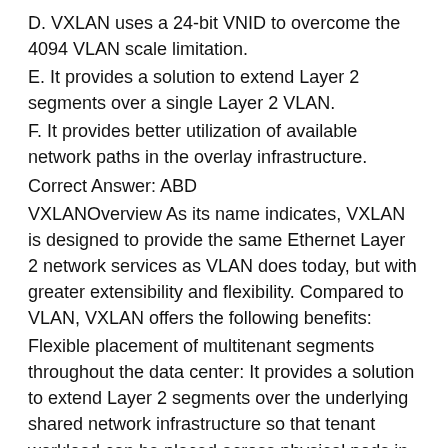D. VXLAN uses a 24-bit VNID to overcome the 4094 VLAN scale limitation.
E. It provides a solution to extend Layer 2 segments over a single Layer 2 VLAN.
F. It provides better utilization of available network paths in the overlay infrastructure.
Correct Answer: ABD
VXLANOverview As its name indicates, VXLAN is designed to provide the same Ethernet Layer 2 network services as VLAN does today, but with greater extensibility and flexibility. Compared to VLAN, VXLAN offers the following benefits:
Flexible placement of multitenant segments throughout the data center: It provides a solution to extend Layer 2 segments over the underlying shared network infrastructure so that tenant workload can be placed across physical pods in the data center.
Higher scalability to address more Layer 2 segments: VLANs use a 12-bit VLAN ID to address Layer 2 segments, which